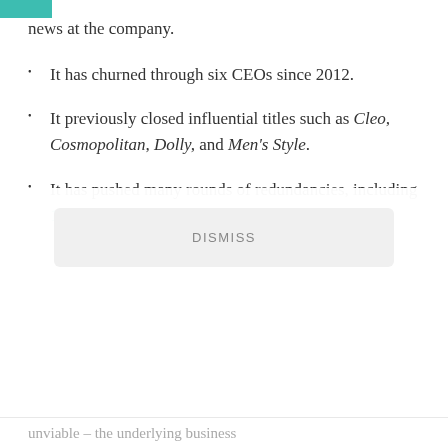news at the company.
It has churned through six CEOs since 2012.
It previously closed influential titles such as Cleo, Cosmopolitan, Dolly, and Men's Style.
It has pushed many rounds of redundancies, including 140
DISMISS
unviable – the underlying business